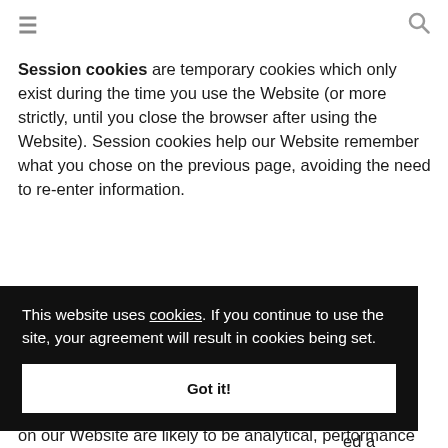≡  🔍
Session cookies are temporary cookies which only exist during the time you use the Website (or more strictly, until you close the browser after using the Website). Session cookies help our Website remember what you chose on the previous page, avoiding the need to re-enter information.
This website uses cookies. If you continue to use the site, your agreement will result in cookies being set.
Got it!
on our Website are likely to be analytical, performance